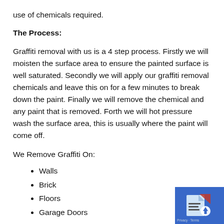use of chemicals required.
The Process:
Graffiti removal with us is a 4 step process. Firstly we will moisten the surface area to ensure the painted surface is well saturated. Secondly we will apply our graffiti removal chemicals and leave this on for a few minutes to break down the paint. Finally we will remove the chemical and any paint that is removed. Forth we will hot pressure wash the surface area, this is usually where the paint will come off.
We Remove Graffiti On:
Walls
Brick
Floors
Garage Doors